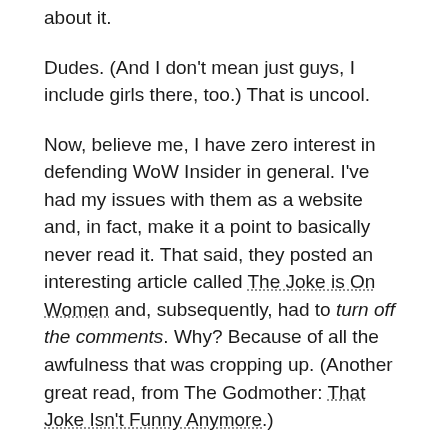about it.
Dudes. (And I don't mean just guys, I include girls there, too.) That is uncool.
Now, believe me, I have zero interest in defending WoW Insider in general. I've had my issues with them as a website and, in fact, make it a point to basically never read it. That said, they posted an interesting article called The Joke is On Women and, subsequently, had to turn off the comments. Why? Because of all the awfulness that was cropping up. (Another great read, from The Godmother: That Joke Isn't Funny Anymore.)
Look, I'm a woman, but do you know why my